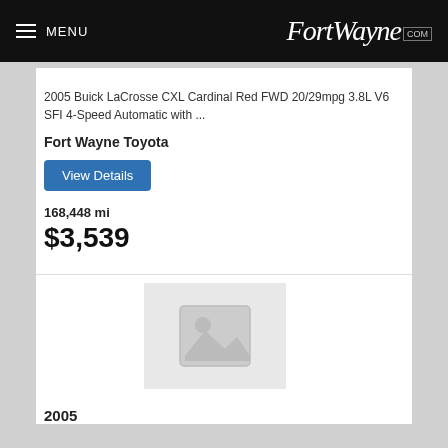MENU FortWayne.com
2005 Buick LaCrosse CXL Cardinal Red FWD 20/29mpg 3.8L V6 SFI 4-Speed Automatic with ...
Fort Wayne Toyota
View Details
168,448 mi
$3,539
[Figure (photo): Placeholder image icon for car listing]
2005